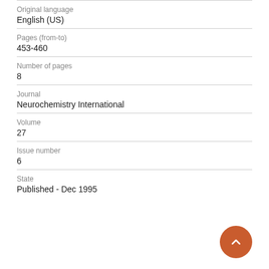Original language
English (US)
Pages (from-to)
453-460
Number of pages
8
Journal
Neurochemistry International
Volume
27
Issue number
6
State
Published - Dec 1995